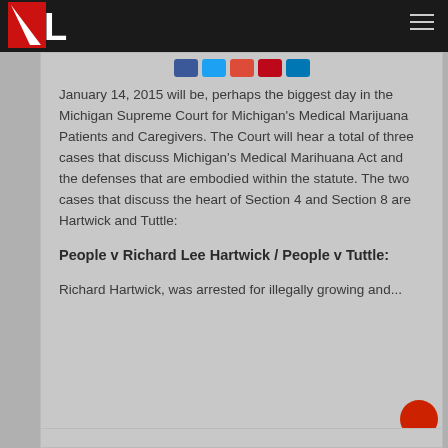NL logo and navigation bar
[Figure (logo): NL logo with red N and white L on dark background, hamburger menu icon on right]
January 14, 2015 will be, perhaps the biggest day in the Michigan Supreme Court for Michigan's Medical Marijuana Patients and Caregivers.  The Court will hear a total of three cases that discuss Michigan's Medical Marihuana Act and the defenses that are embodied within the statute.  The two cases that discuss the heart of Section 4 and Section 8 are Hartwick and Tuttle:
People v Richard Lee Hartwick / People v Tuttle:
Richard Hartwick, was arrested for illegally growing and...